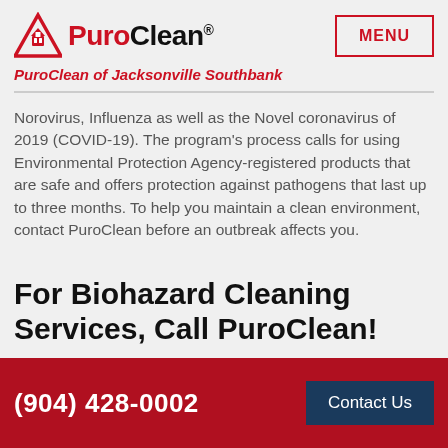[Figure (logo): PuroClean logo with triangle/house icon and brand name in red and black]
[Figure (other): MENU button with red border]
PuroClean of Jacksonville Southbank
Norovirus, Influenza as well as the Novel coronavirus of 2019 (COVID-19). The program's process calls for using Environmental Protection Agency-registered products that are safe and offers protection against pathogens that last up to three months. To help you maintain a clean environment, contact PuroClean before an outbreak affects you.
For Biohazard Cleaning Services, Call PuroClean!
(904) 428-0002  Contact Us